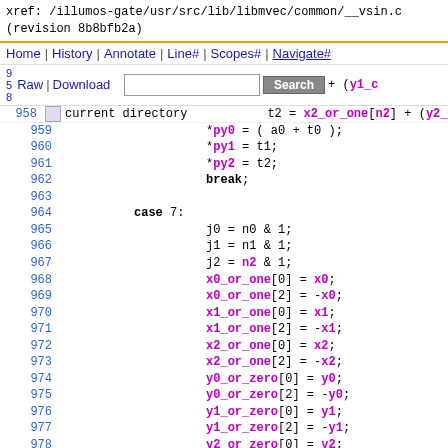xref: /illumos-gate/usr/src/lib/libmvec/common/__vsin.c (revision 8b8bfb2a)
Home | History | Annotate | Line# | Scopes# | Navigate#
Raw | Download | Search
current directory
[Figure (screenshot): Source code viewer showing C code lines 957-981 of __vsin.c with syntax highlighting. Variables in purple/magenta, keywords in bold black.]